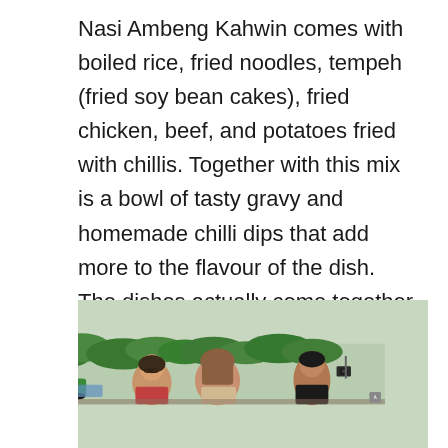Nasi Ambeng Kahwin comes with boiled rice, fried noodles, tempeh (fried soy bean cakes), fried chicken, beef, and potatoes fried with chillis. Together with this mix is a bowl of tasty gravy and homemade chilli dips that add more to the flavour of the dish. The dishes actually come together well complementing each other, making one tasty dish. The portioning is certainly more than enough for two and is worth the price.
[Figure (photo): Outdoor photo showing people (two women visible, one wearing a hijab) seated or standing, with palm trees and a parked car visible in the background. A camera on a mount is visible on the right side.]